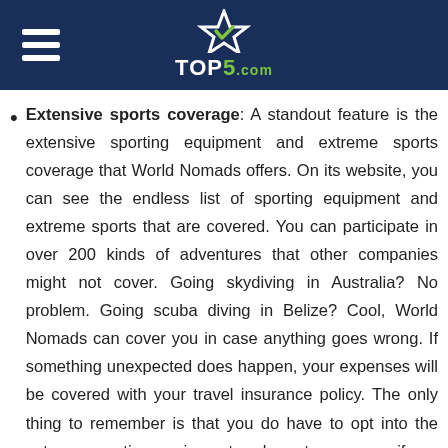[Figure (logo): TOP5.com logo with star icon on dark navy blue header bar with hamburger menu icon on the left]
Extensive sports coverage: A standout feature is the extensive sporting equipment and extreme sports coverage that World Nomads offers. On its website, you can see the endless list of sporting equipment and extreme sports that are covered. You can participate in over 200 kinds of adventures that other companies might not cover. Going skydiving in Australia? No problem. Going scuba diving in Belize? Cool, World Nomads can cover you in case anything goes wrong. If something unexpected does happen, your expenses will be covered with your travel insurance policy. The only thing to remember is that you do have to opt into the extreme sporting equipment and sports coverage if you need it. Many World Nomads reviews mention how great it